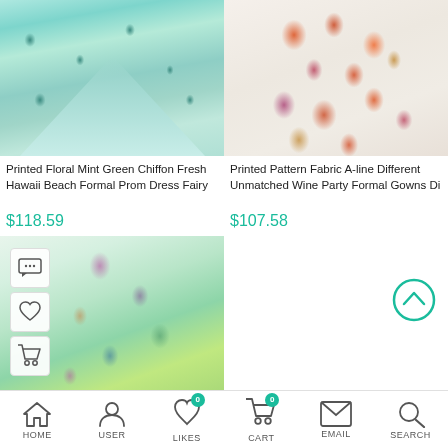[Figure (photo): Teal/mint green floral printed chiffon ball gown dress, full length, displayed on a model in a white decorated room]
Printed Floral Mint Green Chiffon Fresh Hawaii Beach Formal Prom Dress Fairy
$118.59
[Figure (photo): Colorful floral/paisley printed A-line formal gown with wine, orange, red, and purple print on white background]
Printed Pattern Fabric A-line Different Unmatched Wine Party Formal Gowns Di
$107.58
[Figure (photo): Green multicolor printed casual/formal dress worn by a blonde model, with action icons (comment, like, cart) overlaid on the left side]
HOME   USER   LIKES   CART   EMAIL   SEARCH